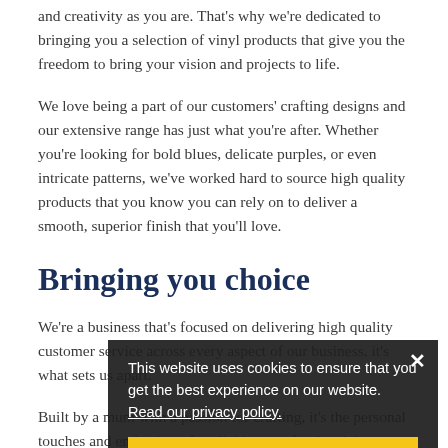and creativity as you are. That's why we're dedicated to bringing you a selection of vinyl products that give you the freedom to bring your vision and projects to life.
We love being a part of our customers' crafting designs and our extensive range has just what you're after. Whether you're looking for bold blues, delicate purples, or even intricate patterns, we've worked hard to source high quality products that you know you can rely on to deliver a smooth, superior finish that you'll love.
Bringing you choice
We're a business that's focused on delivering high quality customer service across every aspect of our business, it's what sets us apart.
Built by a mum with a passion for crafting, it's the personal touches and enthusiasm for all things craft related that our customers love. Our genuine insights and interest mean that you know you can have confidence in us, whether you're simply placing an order or have some questions to ask about the products.
[Figure (screenshot): Cookie consent popup overlay with dark semi-transparent background. Text reads: 'This website uses cookies to ensure that you get the best experience on our website. Read our privacy policy.' with an 'I accept' yellow button and an X close button.]